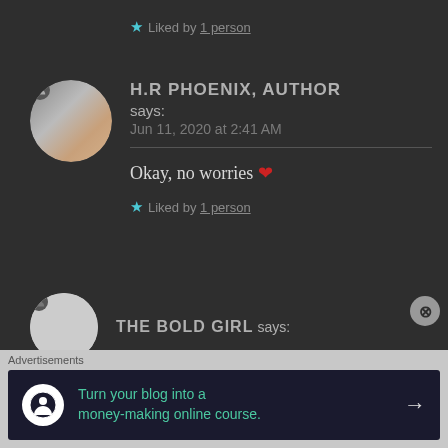★ Liked by 1 person
H.R PHOENIX, AUTHOR says:
Jun 11, 2020 at 2:41 AM
Okay, no worries ❤
★ Liked by 1 person
THE BOLD GIRL says:
Advertisements
Turn your blog into a money-making online course. →